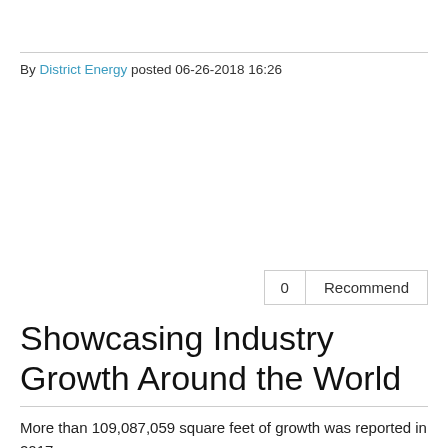By District Energy posted 06-26-2018 16:26
0  Recommend
Showcasing Industry Growth Around the World
More than 109,087,059 square feet of growth was reported in 2017.
Summary
The publication of District Energy Space has become an annual tradition for the International District Energy Association since 1990. Compilations beyond North